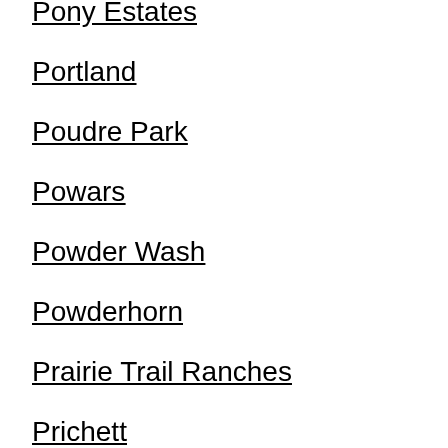Pony Estates
Portland
Poudre Park
Powars
Powder Wash
Powderhorn
Prairie Trail Ranches
Prichett
Princeton
Pritchett
Proctor